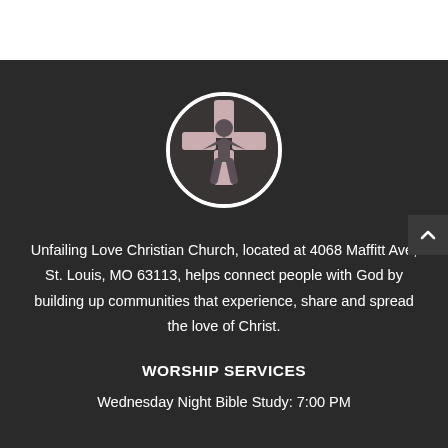[Figure (logo): Circular church logo with stylized figure raising arms surrounded by cross-like shapes in muted pink and gray tones on dark background]
Unfailing Love Christian Church, located at 4068 Maffitt Ave, St. Louis, MO 63113, helps connect people with God by building up communities that experience, share and spread the love of Christ.
WORSHIP SERVICES
Wednesday Night Bible Study: 7:00 PM